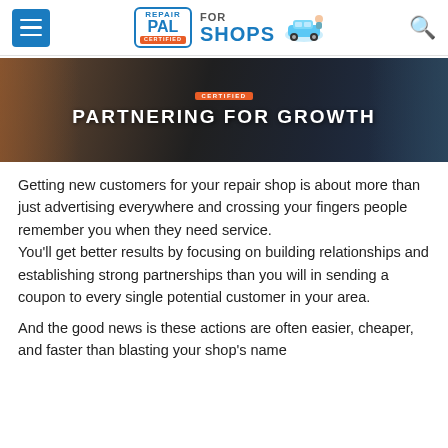[Figure (logo): RepairPal Certified For Shops logo with hamburger menu icon on left and search icon on right]
[Figure (photo): Banner image of mechanic working on a car with overlay text reading PARTNERING FOR GROWTH and CERTIFIED badge]
Getting new customers for your repair shop is about more than just advertising everywhere and crossing your fingers people remember you when they need service.
You'll get better results by focusing on building relationships and establishing strong partnerships than you will in sending a coupon to every single potential customer in your area.
And the good news is these actions are often easier, cheaper, and faster than blasting your shop's name